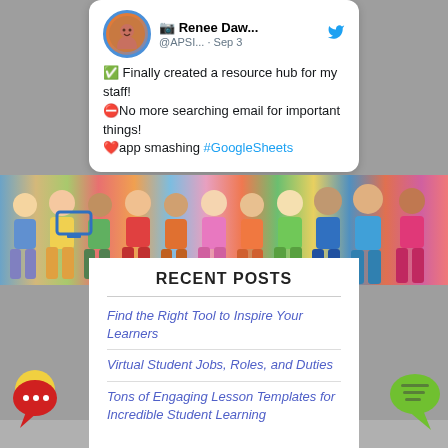[Figure (screenshot): Twitter/X post by Renee Daw... (@APSI...) dated Sep 3, showing a tweet with checkmark emoji 'Finally created a resource hub for my staff!', no-entry emoji 'No more searching email for important things!', heart emoji 'app smashing #GoogleSheets']
[Figure (photo): Horizontal strip photo of diverse group of children standing together, colorful clothing]
RECENT POSTS
Find the Right Tool to Inspire Your Learners
Virtual Student Jobs, Roles, and Duties
Tons of Engaging Lesson Templates for Incredible Student Learning